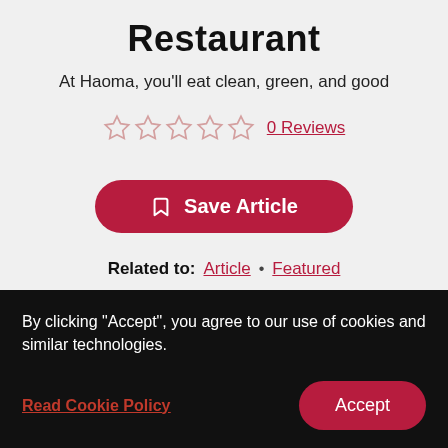Restaurant
At Haoma, you'll eat clean, green, and good
0 Reviews
Save Article
Related to: Article • Featured
[Figure (infographic): Row of social media share icons: Facebook, Twitter, Pinterest, WhatsApp, Email, Link]
By clicking "Accept", you agree to our use of cookies and similar technologies.
Read Cookie Policy
Accept